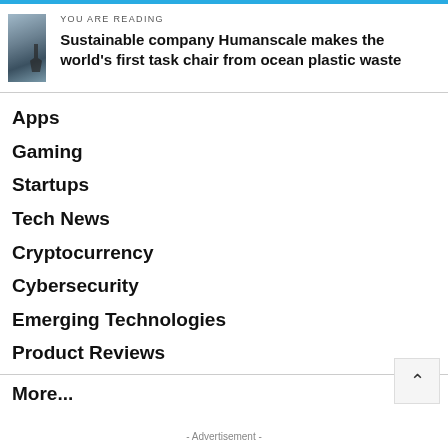YOU ARE READING
Sustainable company Humanscale makes the world’s first task chair from ocean plastic waste
Apps
Gaming
Startups
Tech News
Cryptocurrency
Cybersecurity
Emerging Technologies
Product Reviews
More...
- Advertisement -